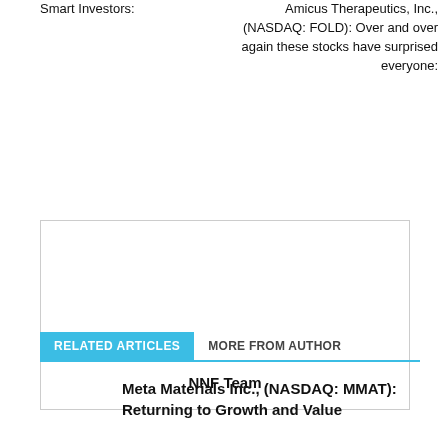Smart Investors:
Amicus Therapeutics, Inc., (NASDAQ: FOLD): Over and over again these stocks have surprised everyone:
[Figure (other): Author box with border containing author name 'NNF Team']
RELATED ARTICLES   MORE FROM AUTHOR
Meta Materials Inc., (NASDAQ: MMAT): Returning to Growth and Value